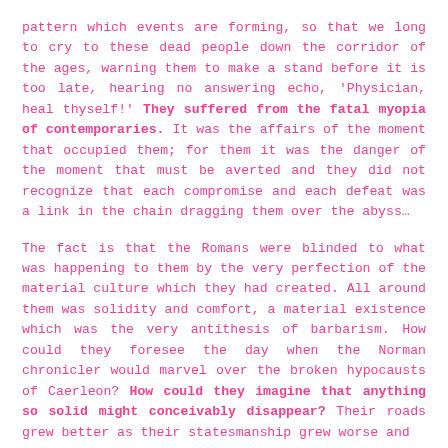pattern which events are forming, so that we long to cry to these dead people down the corridor of the ages, warning them to make a stand before it is too late, hearing no answering echo, 'Physician, heal thyself!' They suffered from the fatal myopia of contemporaries. It was the affairs of the moment that occupied them; for them it was the danger of the moment that must be averted and they did not recognize that each compromise and each defeat was a link in the chain dragging them over the abyss…
The fact is that the Romans were blinded to what was happening to them by the very perfection of the material culture which they had created. All around them was solidity and comfort, a material existence which was the very antithesis of barbarism. How could they foresee the day when the Norman chronicler would marvel over the broken hypocausts of Caerleon? How could they imagine that anything so solid might conceivably disappear? Their roads grew better as their statesmanship grew worse and